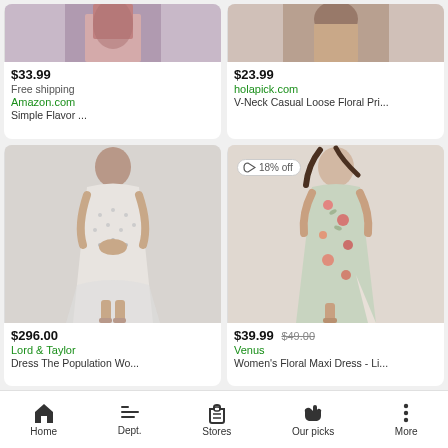[Figure (photo): Partial photo of a woman in a floral dress, cropped at top - Amazon product]
$33.99
Free shipping
Amazon.com
Simple Flavor ...
[Figure (photo): Partial photo of a woman in a floral dress, cropped at top - Holapick product]
$23.99
holapick.com
V-Neck Casual Loose Floral Pri...
[Figure (photo): Photo of a woman wearing a white lace floral midi dress with spaghetti straps - Lord & Taylor]
$296.00
Lord & Taylor
Dress The Population Wo...
[Figure (photo): Photo of a woman wearing a floral maxi dress with 18% off badge - Venus]
$39.99 $49.00
Venus
Women's Floral Maxi Dress - Li...
Home  Dept.  Stores  Our picks  More